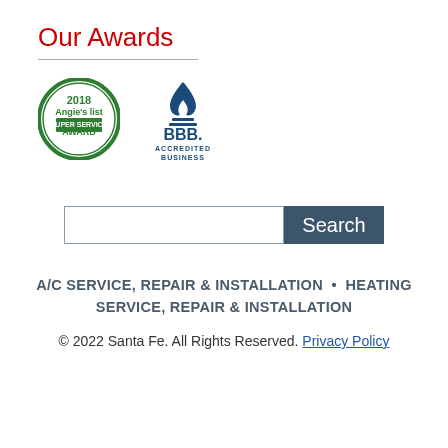Our Awards
[Figure (logo): Angie's List 2018 Super Service Award badge - circular green badge]
[Figure (logo): BBB Accredited Business badge - blue flame logo with BBB. text and ACCREDITED BUSINESS below]
[Figure (screenshot): Search bar with text input field and dark blue Search button]
A/C SERVICE, REPAIR & INSTALLATION • HEATING SERVICE, REPAIR & INSTALLATION
© 2022 Santa Fe. All Rights Reserved. Privacy Policy